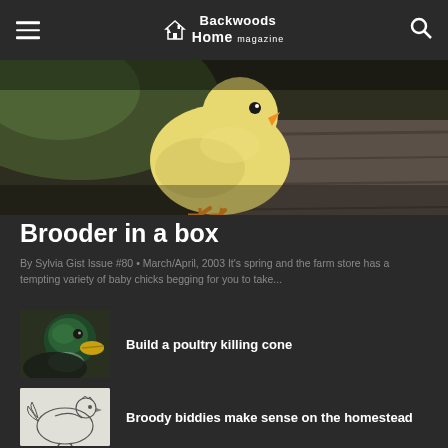Backwoods Home magazine
[Figure (photo): Close-up photo of a baby yellow chick standing on a wooden surface, viewed from above and side.]
Brooder in a box
By Sylvia Gist Issue #80 • March/April, 2003 It's spring and the farm store has a tempting variety of baby chicks begging for you to take...
[Figure (photo): Close-up photo of a mallard duck with green iridescent head and yellow beak.]
Build a poultry killing cone
[Figure (illustration): Black and white line drawing illustration of a hen/chicken.]
Broody biddies make sense on the homestead